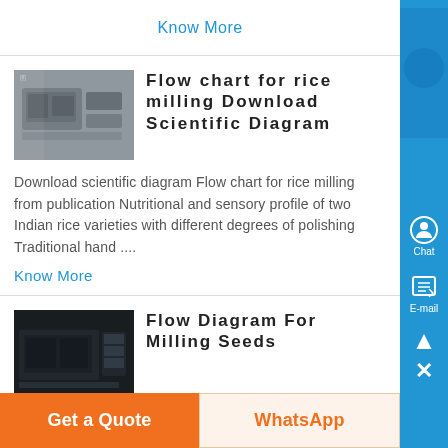Know More
Flow chart for rice milling Download Scientific Diagram
[Figure (photo): Industrial rice milling machine or processing equipment in a factory setting]
Download scientific diagram Flow chart for rice milling from publication Nutritional and sensory profile of two Indian rice varieties with different degrees of polishing Traditional hand ....
Know More
Flow Diagram For Milling Seeds
[Figure (photo): Industrial milling machine or seed processing equipment, dark background]
Flow Diagram For Milling Seeds
Components of milling machine fig1